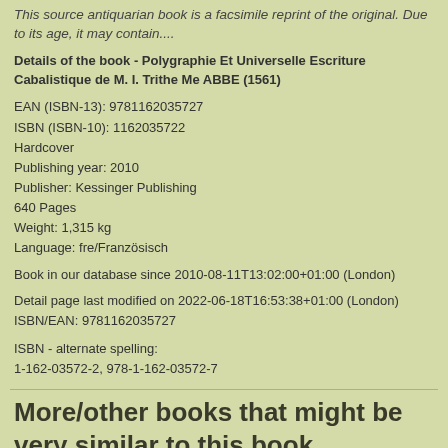This source antiquarian book is a facsimile reprint of the original. Due to its age, it may contain....
Details of the book - Polygraphie Et Universelle Escriture Cabalistique de M. I. Trithe Me ABBE (1561)
EAN (ISBN-13): 9781162035727
ISBN (ISBN-10): 1162035722
Hardcover
Publishing year: 2010
Publisher: Kessinger Publishing
640 Pages
Weight: 1,315 kg
Language: fre/Französisch
Book in our database since 2010-08-11T13:02:00+01:00 (London)
Detail page last modified on 2022-06-18T16:53:38+01:00 (London)
ISBN/EAN: 9781162035727
ISBN - alternate spelling:
1-162-03572-2, 978-1-162-03572-7
More/other books that might be very similar to this book
Latest similar book:
9782012619999 Trithemius, J: Polygraphie Et Universelle Escriture Cabalist (Religion) (Trithemius J)
9782012619999 Trithemius, J: Polygraphie Et Universelle Escriture Cabalist (Religion) (Trithemius J)
9781166011975 Polygraphie Et Universelle Escriture Cabalistique de...